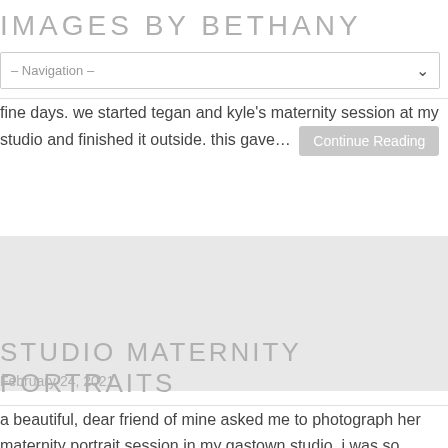IMAGES BY BETHANY
-- Navigation --
fine days. we started tegan and kyle's maternity session at my studio and finished it outside. this gave… Continue Reading
[Figure (photo): Maternity portrait photo, gray placeholder area]
STUDIO MATERNITY PORTRAITS
February 24, 2021
a beautiful, dear friend of mine asked me to photograph her maternity portrait session in my gastown studio. i was so excited to do this